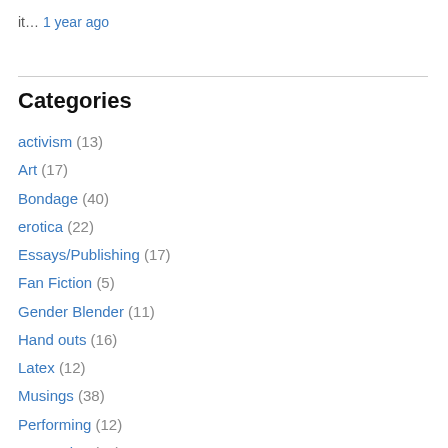it… 1 year ago
Categories
activism (13)
Art (17)
Bondage (40)
erotica (22)
Essays/Publishing (17)
Fan Fiction (5)
Gender Blender (11)
Hand outs (16)
Latex (12)
Musings (38)
Performing (12)
Presenting (33)
sacred sexuality (10)
Sacred/Magick (7)